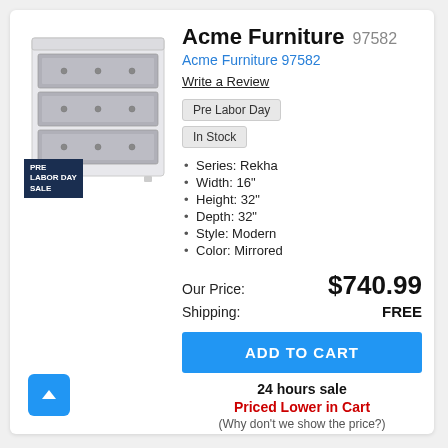[Figure (photo): A white dresser with three drawers featuring gray upholstered fronts with button tufting, modern mirrored furniture piece. A dark navy 'PRE LABOR DAY SALE' badge is in the bottom-left corner of the image.]
Acme Furniture 97582
Acme Furniture 97582
Write a Review
Pre Labor Day
In Stock
Series: Rekha
Width: 16"
Height: 32"
Depth: 32"
Style: Modern
Color: Mirrored
Our Price: $740.99
Shipping: FREE
ADD TO CART
24 hours sale
Priced Lower in Cart
(Why don't we show the price?)